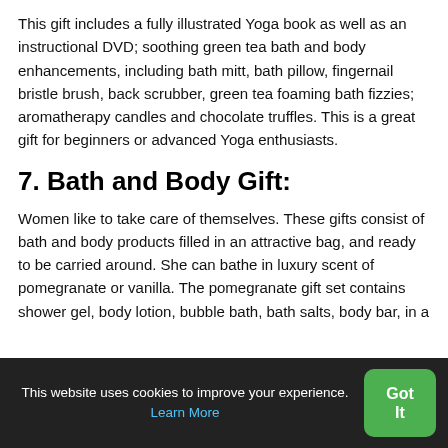This gift includes a fully illustrated Yoga book as well as an instructional DVD; soothing green tea bath and body enhancements, including bath mitt, bath pillow, fingernail bristle brush, back scrubber, green tea foaming bath fizzies; aromatherapy candles and chocolate truffles. This is a great gift for beginners or advanced Yoga enthusiasts.
7. Bath and Body Gift:
Women like to take care of themselves. These gifts consist of bath and body products filled in an attractive bag, and ready to be carried around. She can bathe in luxury scent of pomegranate or vanilla. The pomegranate gift set contains shower gel, body lotion, bubble bath, bath salts, body bar, in a
This website uses cookies to improve your experience. Learn More